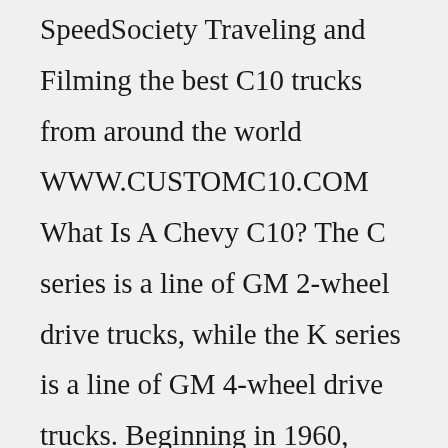SpeedSociety Traveling and Filming the best C10 trucks from around the world WWW.CUSTOMC10.COM What Is A Chevy C10? The C series is a line of GM 2-wheel drive trucks, while the K series is a line of GM 4-wheel drive trucks. Beginning in 1960, trucks of this generation were named as 10, 20, and 30 series to represent the 1/2, 3/4, and 1-ton versions of GM's light truck line. 1960 Chevy C10——C20——C30Chevrolet C10 - 1964-1987. The